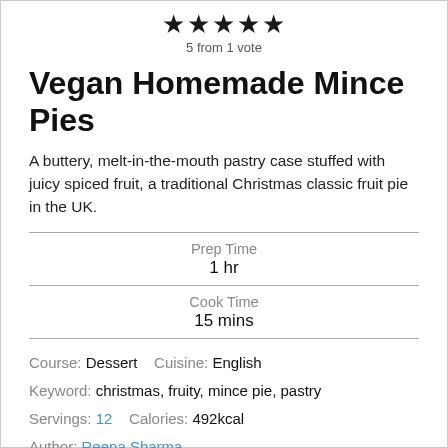[Figure (other): Five filled black stars rating display]
5 from 1 vote
Vegan Homemade Mince Pies
A buttery, melt-in-the-mouth pastry case stuffed with juicy spiced fruit, a traditional Christmas classic fruit pie in the UK.
Prep Time
1 hr
Cook Time
15 mins
Course: Dessert    Cuisine: English
Keyword: christmas, fruity, mince pie, pastry
Servings: 12    Calories: 492kcal
Author: Reena Sharma
Ingredients
Mincemeat: